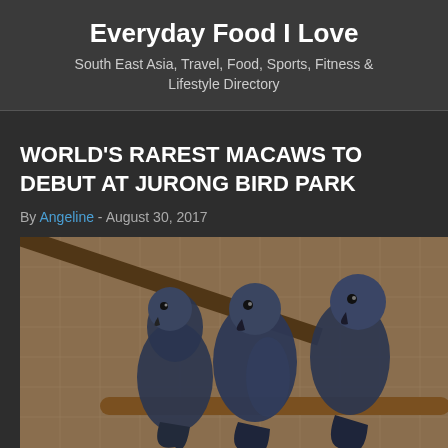Everyday Food I Love
South East Asia, Travel, Food, Sports, Fitness & Lifestyle Directory
WORLD'S RAREST MACAWS TO DEBUT AT JURONG BIRD PARK
By Angeline - August 30, 2017
[Figure (photo): Three dark blue/grey macaws (Spix's or Lear's macaws) perched on a wooden branch inside a wire-mesh enclosure]
Come end-November, local and international visitors will be